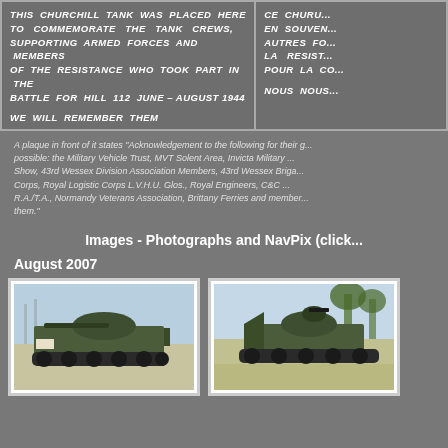| English | French (partial) |
| --- | --- |
| THIS CHURCHILL TANK WAS PLACED HERE TO COMMEMORATE THE TANK CREWS, SUPPORTING ARMED FORCES AND MEMBERS OF THE RESISTANCE WHO TOOK PART IN THE BATTLE FOR HILL 112 JUNE – AUGUST 1944

WE WILL REMEMBER THEM | CE CHUR...
EN SOUVEN...
AUTRES FO...
LA RESIST...
POUR LA CO...

NOUS NOUS... |
A plaque in front of it states "Acknowledgement to the following for their g... possible: the Military Vehicle Trust, MVT Solent Area, Invicta Military ... Show, 43rd Wessex Division Association Members, 43rd Wessex Briga... Corps, Royal Logistic Corps L.V.H.U. Glos., Royal Engineers, C&C ... R.A./T.A., Normandy Veterans Association, Brittany Ferries and member... them."
Images - Photographs and NavPix (click...
August 2007
[Figure (photo): Churchill tank on display outdoors, side view showing main gun and tracks, open field background]
[Figure (photo): Churchill tank on display outdoors, front-side view, trees in background]